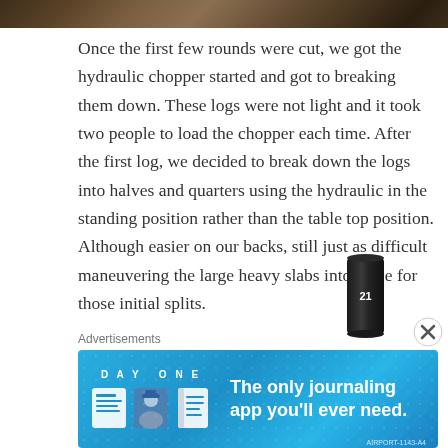[Figure (photo): Top portion of an outdoor photo showing logs being cut, partially cropped at the top of the page]
Once the first few rounds were cut, we got the hydraulic chopper started and got to breaking them down. These logs were not light and it took two people to load the chopper each time. After the first log, we decided to break down the logs into halves and quarters using the hydraulic in the standing position rather than the table top position. Although easier on our backs, still just as difficult maneuvering the large heavy slabs into place for those initial splits.
[Figure (photo): Partial image of a dark cylindrical product (can) with white text/label]
Advertisements
[Figure (illustration): Day One journaling app advertisement banner with blue background, DAY ONE wordmark, cartoon icons, and tagline 'The only journaling app you'll ever need.']